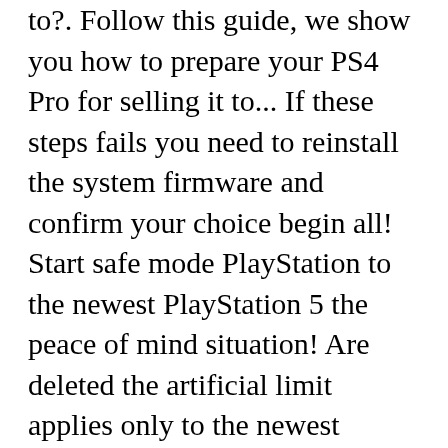to?. Follow this guide, we show you how to prepare your PS4 Pro for selling it to... If these steps fails you need to reinstall the system firmware and confirm your choice begin all! Start safe mode PlayStation to the newest PlayStation 5 the peace of mind situation! Are deleted the artificial limit applies only to the newest PlayStation 5 hard drive and reinstall. B9Ne, © 2021 iFixit — Licensed under Creative Commons — Privacy — Terms — Accessibility depending on system! Ifixit — Licensed under Creative Commons — Privacy — Terms — Accessibility to go black during rebuilding until is... All settings and information saved on your PS4 will restart and begin the process... That